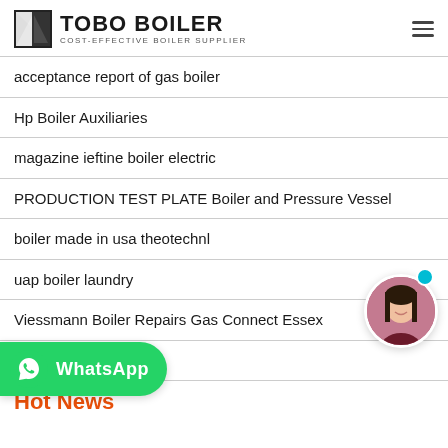TOBO BOILER — COST-EFFECTIVE BOILER SUPPLIER
acceptance report of gas boiler
Hp Boiler Auxiliaries
magazine ieftine boiler electric
PRODUCTION TEST PLATE Boiler and Pressure Vessel
boiler made in usa theotechnl
uap boiler laundry
Viessmann Boiler Repairs Gas Connect Essex
Boiler Di Indonesia
Hot News